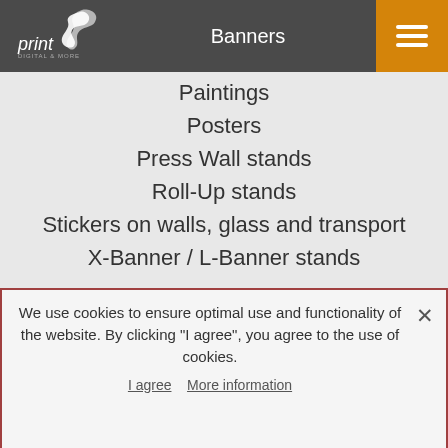print [logo] | Banners | hamburger menu
Banners
Paintings
Posters
Press Wall stands
Roll-Up stands
Stickers on walls, glass and transport
X-Banner / L-Banner stands
Paper bags
Bags for bottles and wine
Gift bags with logo
Kraft bags
Paper bags splicing
Promo Materials
We use cookies to ensure optimal use and functionality of the website. By clicking "I agree", you agree to the use of cookies.
I agree    More information